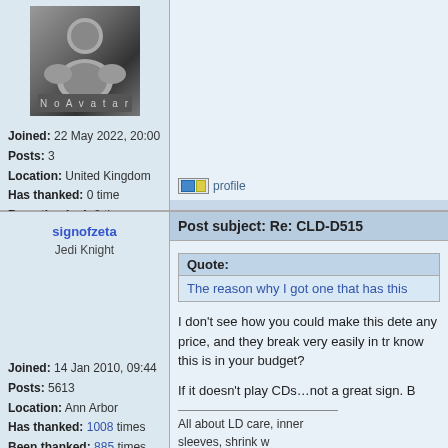[Figure (illustration): No Avatar placeholder image — dark rounded figure silhouette with 'No Avatar' text below]
Joined: 22 May 2022, 20:00
Posts: 3
Location: United Kingdom
Has thanked: 0 time
Been thanked: 0 time
offline
profile
Post subject: Re: CLD-D515
signofzeta
Jedi Knight
Quote:
The reason why I got one that has this
Joined: 14 Jan 2010, 09:44
Posts: 5613
Location: Ann Arbor
Has thanked: 1008 times
Been thanked: 885 times
I don't see how you could make this dete any price, and they break very easily in tr know this is in your budget?
If it doesn't play CDs…not a great sign. B
All about LD care, inner sleeves, shrink w